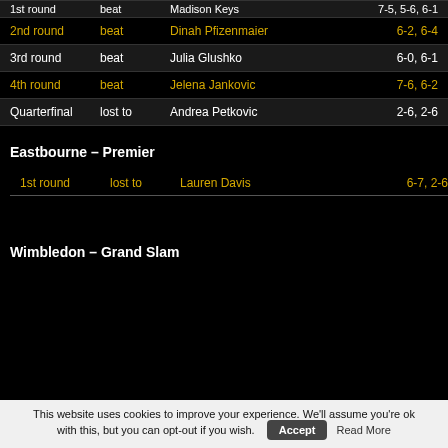| Round | Result | Opponent | Score |
| --- | --- | --- | --- |
| 1st round | beat | Madison Keys | 7-5, 5-0, 6-1 |
| 2nd round | beat | Dinah Pfizenmaier | 6-2, 6-4 |
| 3rd round | beat | Julia Glushko | 6-0, 6-1 |
| 4th round | beat | Jelena Jankovic | 7-6, 6-2 |
| Quarterfinal | lost to | Andrea Petkovic | 2-6, 2-6 |
Eastbourne – Premier
| Round | Result | Opponent | Score |
| --- | --- | --- | --- |
| 1st round | lost to | Lauren Davis | 6-7, 2-6 |
Wimbledon – Grand Slam
This website uses cookies to improve your experience. We'll assume you're ok with this, but you can opt-out if you wish. Accept Read More